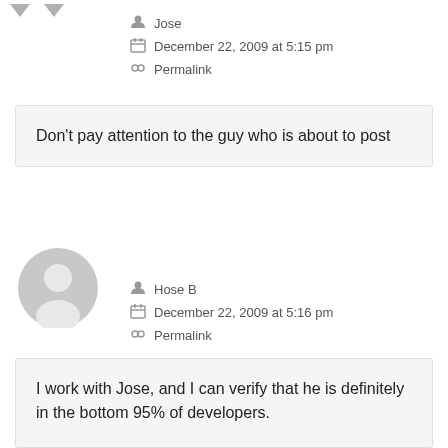Jose
December 22, 2009 at 5:15 pm
Permalink
Don't pay attention to the guy who is about to post
[Figure (illustration): Gray placeholder avatar icon for user Hose B]
Hose B
December 22, 2009 at 5:16 pm
Permalink
I work with Jose, and I can verify that he is definitely in the bottom 95% of developers.